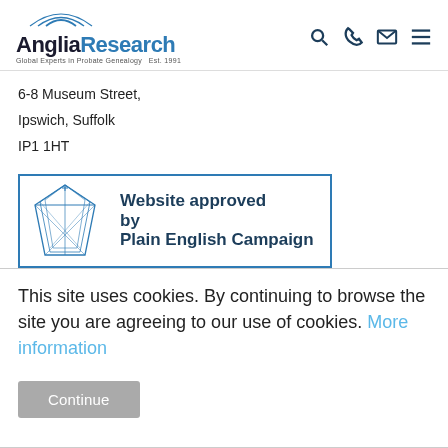Anglia Research — Global Experts in Probate Genealogy Est. 1991
6-8 Museum Street,
Ipswich, Suffolk
IP1 1HT
[Figure (logo): Website approved by Plain English Campaign badge with diamond crystal graphic and blue border]
This site uses cookies. By continuing to browse the site you are agreeing to our use of cookies. More information
Continue